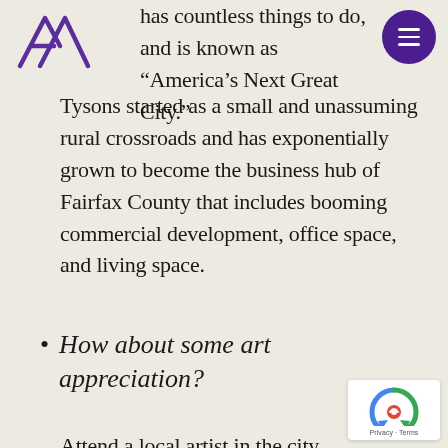has countless things to do, and is known as “America’s Next Great City.” Tysons started as a small and unassuming rural crossroads and has exponentially grown to become the business hub of Fairfax County that includes booming commercial development, office space, and living space.
How about some art appreciation?